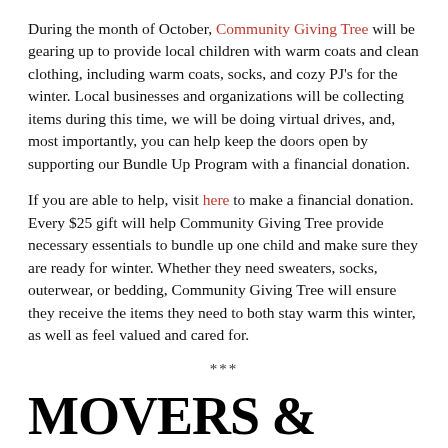During the month of October, Community Giving Tree will be gearing up to provide local children with warm coats and clean clothing, including warm coats, socks, and cozy PJ's for the winter. Local businesses and organizations will be collecting items during this time, we will be doing virtual drives, and, most importantly, you can help keep the doors open by supporting our Bundle Up Program with a financial donation.
If you are able to help, visit here to make a financial donation. Every $25 gift will help Community Giving Tree provide necessary essentials to bundle up one child and make sure they are ready for winter. Whether they need sweaters, socks, outerwear, or bedding, Community Giving Tree will ensure they receive the items they need to both stay warm this winter, as well as feel valued and cared for.
***
MOVERS & SHAKERS